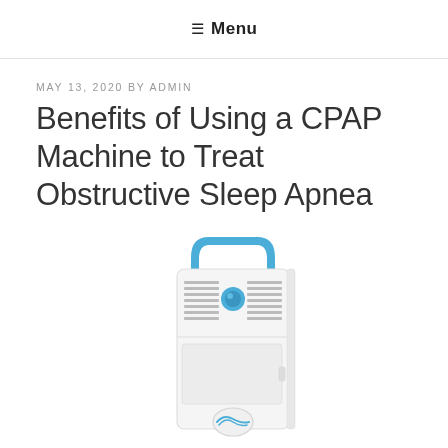≡ Menu
MAY 13, 2020 BY ADMIN
Benefits of Using a CPAP Machine to Treat Obstructive Sleep Apnea
[Figure (photo): A white portable CPAP/oxygen concentrator machine with a blue handle on top, ventilation grilles on the front, a blue control knob, and a circular logo at the bottom center.]